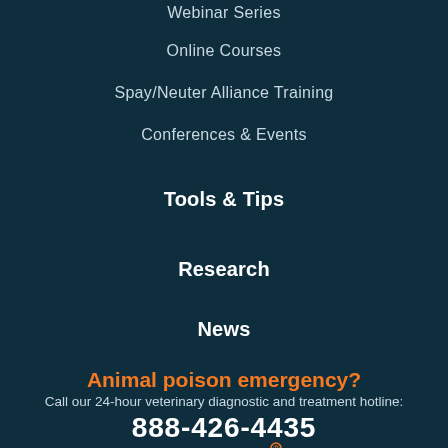Webinar Series
Online Courses
Spay/Neuter Alliance Training
Conferences & Events
Tools & Tips
Research
News
Animal poison emergency?
Call our 24-hour veterinary diagnostic and treatment hotline:
888-426-4435
[Figure (logo): ASPCA pro logo in orange and light blue/grey italic text]